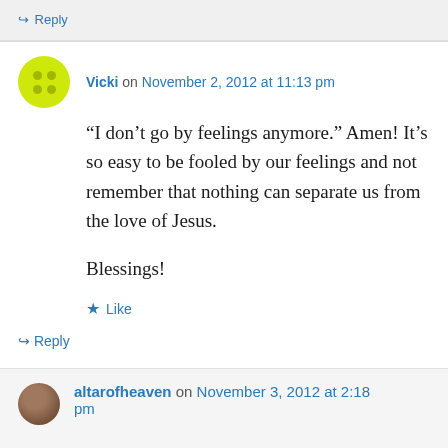↳ Reply
Vicki on November 2, 2012 at 11:13 pm
“I don’t go by feelings anymore.” Amen! It’s so easy to be fooled by our feelings and not remember that nothing can separate us from the love of Jesus.

Blessings!
Like
↳ Reply
altarofheaven on November 3, 2012 at 2:18 pm